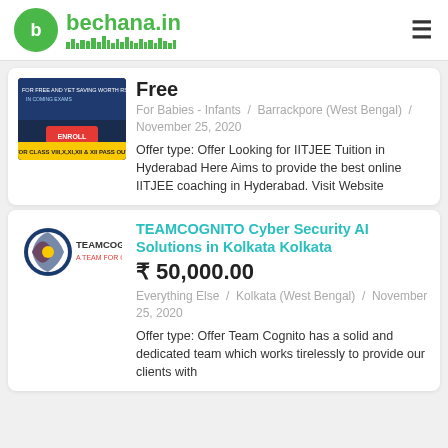bechana.in
Free
For Babies - Infants / Barrackpore (West Bengal) / November 25, 2020
Offer type: Offer Looking for IITJEE Tuition in Hyderabad Here Aims to provide the best online IITJEE coaching in Hyderabad. Visit Website
TEAMCOGNITO Cyber Security AI Solutions in Kolkata Kolkata
₹ 50,000.00
Everything Else / Kolkata (West Bengal) / November 25, 2020
Offer type: Offer Team Cognito has a solid and dedicated team which works tirelessly to provide our clients with